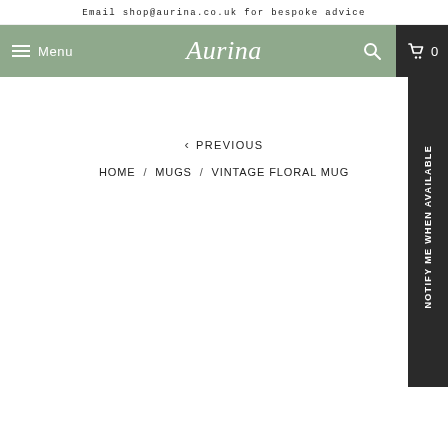Email shop@aurina.co.uk for bespoke advice
[Figure (screenshot): Aurina website navigation bar with hamburger menu, Menu text, Aurina script logo, search icon, and cart with count 0 on dark background]
< PREVIOUS
HOME / MUGS / VINTAGE FLORAL MUG
[Figure (other): Dark vertical sidebar on right side with text NOTIFY ME WHEN AVAILABLE written vertically]